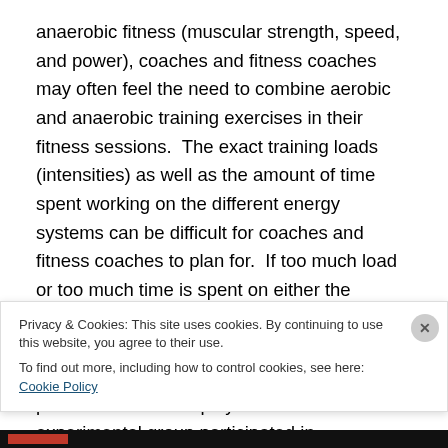anaerobic fitness (muscular strength, speed, and power), coaches and fitness coaches may often feel the need to combine aerobic and anaerobic training exercises in their fitness sessions.  The exact training loads (intensities) as well as the amount of time spent working on the different energy systems can be difficult for coaches and fitness coaches to plan for.  If too much load or too much time is spent on either the aerobic or anaerobic, improvements in one or both energy systems may be compromised.  In a recent study done by Wong et. al. (2010), professional soccer players in an experimental group participated in
Privacy & Cookies: This site uses cookies. By continuing to use this website, you agree to their use.
To find out more, including how to control cookies, see here: Cookie Policy
Close and accept